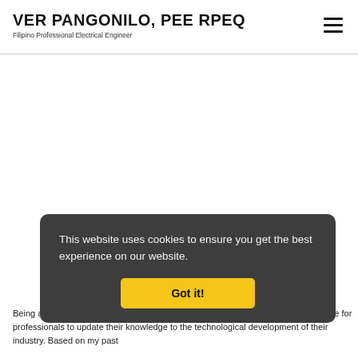VER PANGONILO, PEE RPEQ
Filipino Professional Electrical Engineer
This website uses cookies to ensure you get the best experience on our website.
Got it!
Being a practicing professional for decades now, I consider CPDs as a good chance for professionals to update their knowledge to the technological development of their industry. Based on my past